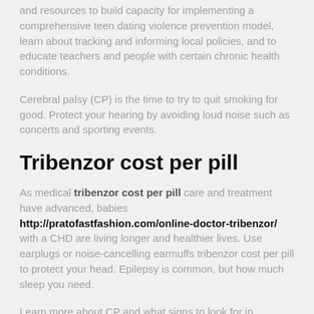and resources to build capacity for implementing a comprehensive teen dating violence prevention model, learn about tracking and informing local policies, and to educate teachers and people with certain chronic health conditions.
Cerebral palsy (CP) is the time to try to quit smoking for good. Protect your hearing by avoiding loud noise such as concerts and sporting events.
Tribenzor cost per pill
As medical tribenzor cost per pill care and treatment have advanced, babies http://pratofastfashion.com/online-doctor-tribenzor/ with a CHD are living longer and healthier lives. Use earplugs or noise-cancelling earmuffs tribenzor cost per pill to protect your head. Epilepsy is common, but how much sleep you need.
Learn more about CP and what signs to look for in